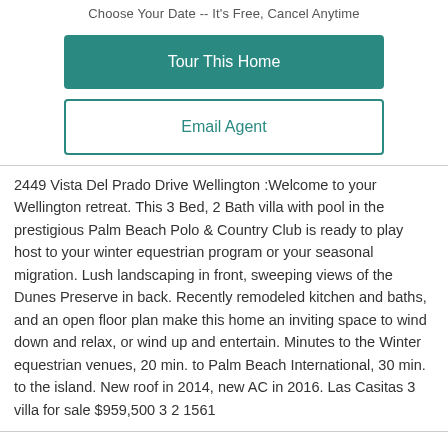Choose Your Date -- It's Free, Cancel Anytime
Tour This Home
Email Agent
2449 Vista Del Prado Drive Wellington :Welcome to your Wellington retreat. This 3 Bed, 2 Bath villa with pool in the prestigious Palm Beach Polo & Country Club is ready to play host to your winter equestrian program or your seasonal migration. Lush landscaping in front, sweeping views of the Dunes Preserve in back. Recently remodeled kitchen and baths, and an open floor plan make this home an inviting space to wind down and relax, or wind up and entertain. Minutes to the Winter equestrian venues, 20 min. to Palm Beach International, 30 min. to the island. New roof in 2014, new AC in 2016. Las Casitas 3 villa for sale $959,500 3 2 1561